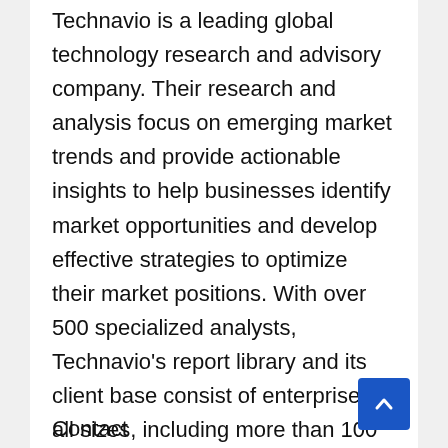Technavio is a leading global technology research and advisory company. Their research and analysis focus on emerging market trends and provide actionable insights to help businesses identify market opportunities and develop effective strategies to optimize their market positions. With over 500 specialized analysts, Technavio's report library and its client base consist of enterprises of all sizes, including more than 100 Fortune 500 companies. This growing client base relies on Technavio's comprehensive coverage, extensive research, and actionable market insights to identify opportunities in existing and potential markets and assess their competitive positions within changing market scenarios.
Contact